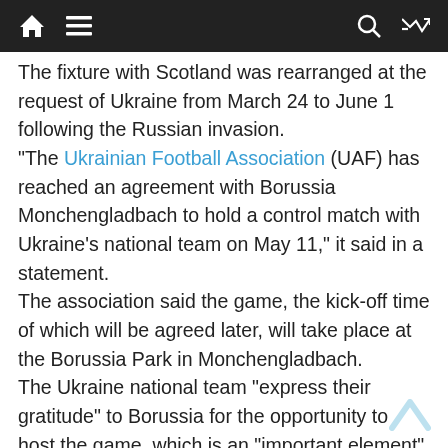Navigation bar with home, menu, search, and shuffle icons
The fixture with Scotland was rearranged at the request of Ukraine from March 24 to June 1 following the Russian invasion.
"The Ukrainian Football Association (UAF) has reached an agreement with Borussia Monchengladbach to hold a control match with Ukraine's national team on May 11," it said in a statement.
The association said the game, the kick-off time of which will be agreed later, will take place at the Borussia Park in Monchengladbach.
The Ukraine national team "express their gratitude" to Borussia for the opportunity to host the game, which is an "important element" in preparing the side for the 2022 World Cup playoffs, the UAF said.
Ukrainian football clubs decided this week to put an